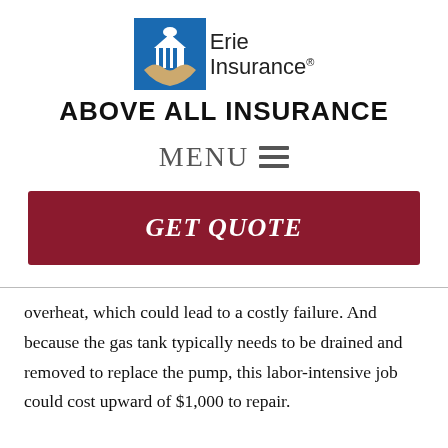[Figure (logo): Erie Insurance logo with blue building/dome icon and text 'Erie Insurance' with registered trademark symbol]
ABOVE ALL INSURANCE
MENU ≡
GET QUOTE
overheat, which could lead to a costly failure. And because the gas tank typically needs to be drained and removed to replace the pump, this labor-intensive job could cost upward of $1,000 to repair.